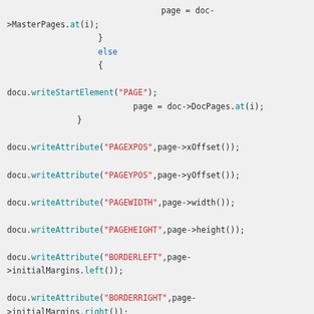page = doc->MasterPages.at(i);
}
else
{

docu.writeStartElement("PAGE");
                    page = doc->DocPages.at(i);
            }

docu.writeAttribute("PAGEXPOS",page->xOffset());

docu.writeAttribute("PAGEYPOS",page->yOffset());

docu.writeAttribute("PAGEWIDTH",page->width());

docu.writeAttribute("PAGEHEIGHT",page->height());

docu.writeAttribute("BORDERLEFT",page->initialMargins.left());

docu.writeAttribute("BORDERRIGHT",page->initialMargins.right());

docu.writeAttribute("BORDERTOP",page->initialMargins.top());